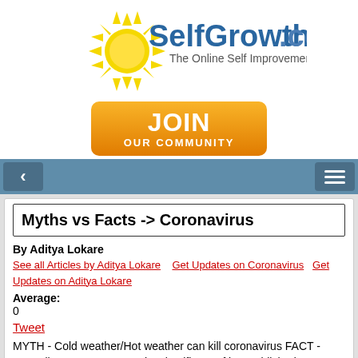[Figure (logo): SelfGrowth.com logo with sun rays and text 'The Online Self Improvement Community']
[Figure (other): Orange gradient JOIN OUR COMMUNITY button]
[Figure (other): Blue navigation bar with back arrow and hamburger menu]
Myths vs Facts -> Coronavirus
By Aditya Lokare
See all Articles by Aditya Lokare   Get Updates on Coronavirus   Get Updates on Aditya Lokare
Average:
0
Tweet
MYTH - Cold weather/Hot weather can kill coronavirus FACT - According to WHO, no such scientific proof is established to believe